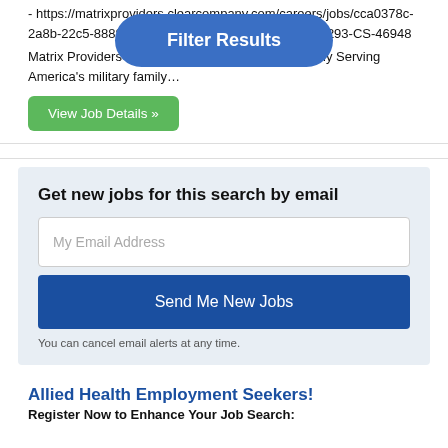- https://matrixproviders.clearcompany.com/careers/jobs/cca0378c-2a8b-22c5-8888-7dfcb07345ad/apply?source=1813293-CS-46948
Matrix Providers - Caring for America's military family Serving America's military family…
View Job Details »
Get new jobs for this search by email
My Email Address
Send Me New Jobs
You can cancel email alerts at any time.
Allied Health Employment Seekers!
Register Now to Enhance Your Job Search:
[Figure (other): Filter Results badge/button overlay in blue rounded rectangle]